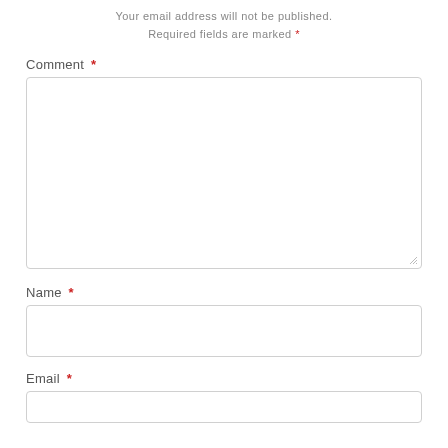Your email address will not be published. Required fields are marked *
Comment *
[Figure (other): Large empty textarea input box for comment]
Name *
[Figure (other): Single-line text input box for name]
Email *
[Figure (other): Single-line text input box for email (partially visible)]